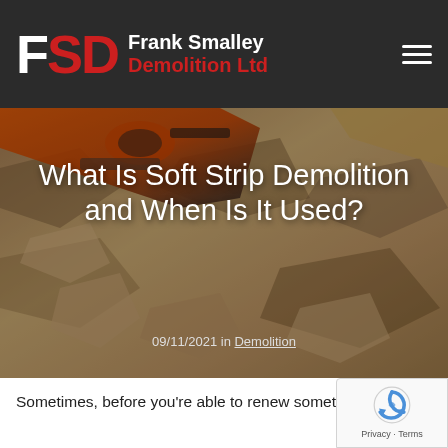Frank Smalley Demolition Ltd
[Figure (photo): Hero image of demolition scene with orange power tool and broken concrete/rubble on the ground, with article title overlay]
What Is Soft Strip Demolition and When Is It Used?
09/11/2021 in Demolition
Sometimes, before you're able to renew something,